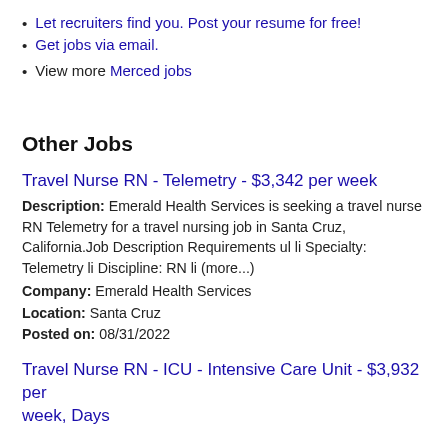Let recruiters find you. Post your resume for free!
Get jobs via email.
View more Merced jobs
Other Jobs
Travel Nurse RN - Telemetry - $3,342 per week
Description: Emerald Health Services is seeking a travel nurse RN Telemetry for a travel nursing job in Santa Cruz, California.Job Description Requirements ul li Specialty: Telemetry li Discipline: RN li (more...)
Company: Emerald Health Services
Location: Santa Cruz
Posted on: 08/31/2022
Travel Nurse RN - ICU - Intensive Care Unit - $3,932 per week, Days